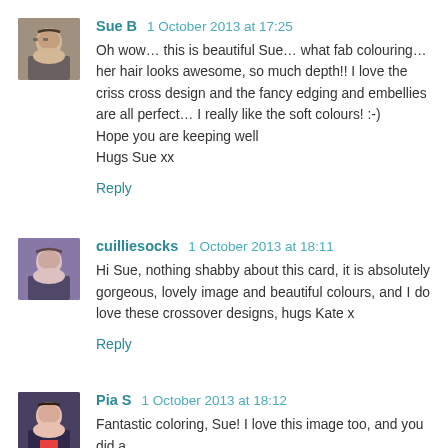[Figure (photo): Avatar photo of Sue B, a woman with glasses]
Sue B  1 October 2013 at 17:25
Oh wow… this is beautiful Sue… what fab colouring… her hair looks awesome, so much depth!! I love the criss cross design and the fancy edging and embellies are all perfect… I really like the soft colours! :-)
Hope you are keeping well
Hugs Sue xx
Reply
[Figure (photo): Avatar photo of cuilliesocks, a woman]
cuilliesocks  1 October 2013 at 18:11
Hi Sue, nothing shabby about this card, it is absolutely gorgeous, lovely image and beautiful colours, and I do love these crossover designs, hugs Kate x
Reply
[Figure (photo): Avatar photo of Pia S, a woman]
Pia S  1 October 2013 at 18:12
Fantastic coloring, Sue! I love this image too, and you did a